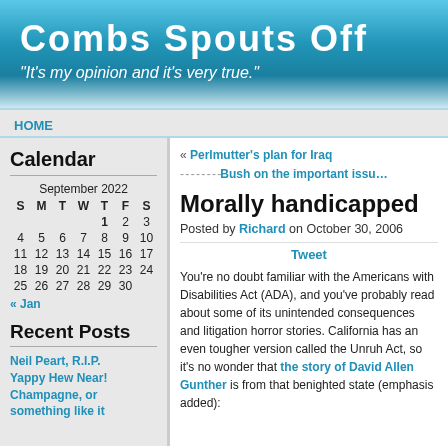Combs Spouts Off
"It's my opinion and it's very true."
HOME
Calendar
| S | M | T | W | T | F | S |
| --- | --- | --- | --- | --- | --- | --- |
|  |  |  | 1 | 2 | 3 |
| 4 | 5 | 6 | 7 | 8 | 9 | 10 |
| 11 | 12 | 13 | 14 | 15 | 16 | 17 |
| 18 | 19 | 20 | 21 | 22 | 23 | 24 |
| 25 | 26 | 27 | 28 | 29 | 30 |  |
« Jan
Recent Posts
Neil Peart, R.I.P.
Yappy Hew Near!
Champagne, or something like it
« Perlmutter's plan for Iraq
Bush on the important issu…
Morally handicapped
Posted by Richard on October 30, 2006
Tweet
You're no doubt familiar with the Americans with Disabilities Act (ADA), and you've probably read about some of its unintended consequences and litigation horror stories. California has an even tougher version called the Unruh Act, so it's no wonder the story of David Allen Gunther is from that benighted state (emphasis added):